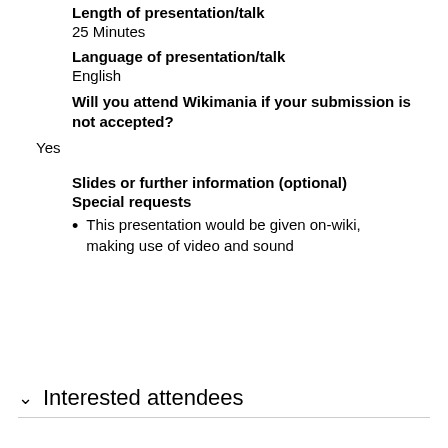Length of presentation/talk
25 Minutes
Language of presentation/talk
English
Will you attend Wikimania if your submission is not accepted?
Yes
Slides or further information (optional)
Special requests
This presentation would be given on-wiki, making use of video and sound
Interested attendees